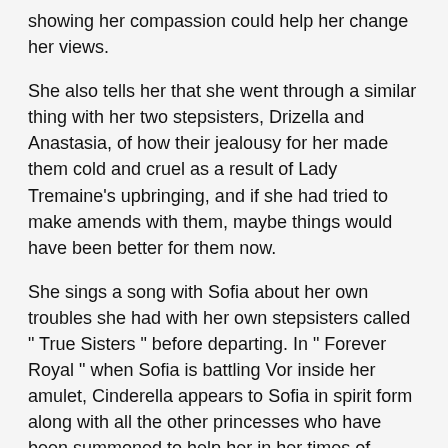showing her compassion could help her change her views.
She also tells her that she went through a similar thing with her two stepsisters, Drizella and Anastasia, of how their jealousy for her made them cold and cruel as a result of Lady Tremaine's upbringing, and if she had tried to make amends with them, maybe things would have been better for them now.
She sings a song with Sofia about her own troubles she had with her own stepsisters called " True Sisters " before departing. In " Forever Royal " when Sofia is battling Vor inside her amulet, Cinderella appears to Sofia in spirit form along with all the other princesses who have been summoned to help her in her times of need, and they encourage her to be brave and strong for they all believe in her.
She and the other Disney princesses greet net users who most relate to them after answering a "Which Disney